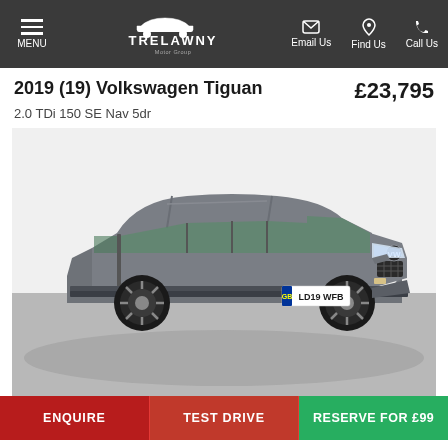MENU | TRELAWNY | Email Us | Find Us | Call Us
2019 (19) Volkswagen Tiguan £23,795
2.0 TDi 150 SE Nav 5dr
[Figure (photo): Grey 2019 Volkswagen Tiguan SUV photographed at three-quarter front angle in a white showroom. License plate reads LD19 WFB.]
ENQUIRE | TEST DRIVE | RESERVE FOR £99